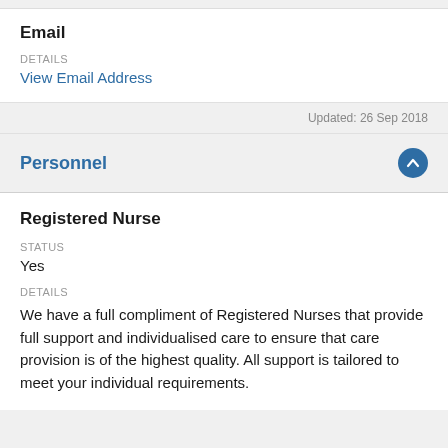Email
DETAILS
View Email Address
Updated: 26 Sep 2018
Personnel
Registered Nurse
STATUS
Yes
DETAILS
We have a full compliment of Registered Nurses that provide full support and individualised care to ensure that care provision is of the highest quality. All support is tailored to meet your individual requirements.